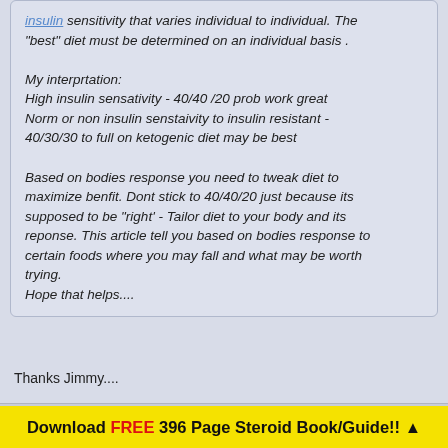insulin sensitivity that varies individual to individual. The "best" diet must be determined on an individual basis .

My interprtation:
High insulin sensativity - 40/40 /20 prob work great
Norm or non insulin senstaivity to insulin resistant - 40/30/30 to full on ketogenic diet may be best

Based on bodies response you need to tweak diet to maximize benfit. Dont stick to 40/40/20 just because its supposed to be "right' - Tailor diet to your body and its reponse. This article tell you based on bodies response to certain foods where you may fall and what may be worth trying.
Hope that helps....
Thanks Jimmy....
Reply With Quote
Download FREE 396 Page Steroid Book/Guide!! ▲